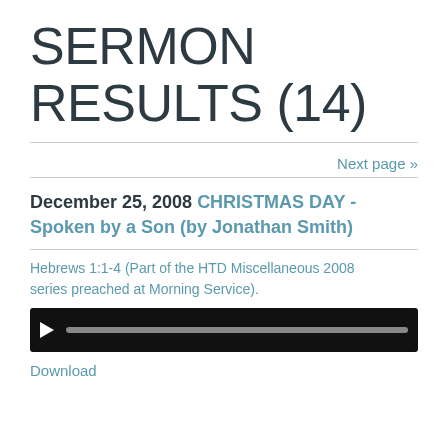SERMON RESULTS (14)
Next page »
December 25, 2008 CHRISTMAS DAY - Spoken by a Son (by Jonathan Smith)
Hebrews 1:1-4 (Part of the HTD Miscellaneous 2008 series preached at Morning Service).
[Figure (other): Audio player with play button and progress bar]
Download